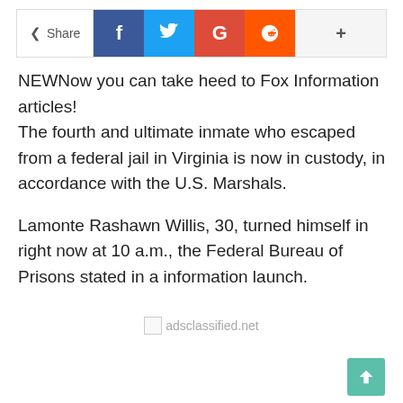[Figure (screenshot): Social share bar with Share label, Facebook (f), Twitter (bird), Google+ (G), Reddit (alien), and + buttons]
NEWNow you can take heed to Fox Information articles! The fourth and ultimate inmate who escaped from a federal jail in Virginia is now in custody, in accordance with the U.S. Marshals.
Lamonte Rashawn Willis, 30, turned himself in right now at 10 a.m., the Federal Bureau of Prisons stated in a information launch.
[Figure (logo): adsclassified.net watermark/ad logo with small broken image icon]
[Figure (other): Scroll-to-top button (green, arrow up icon)]